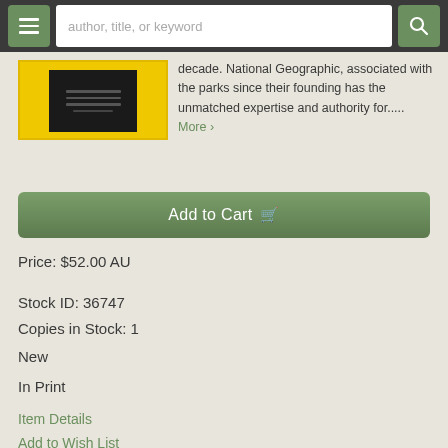author, title, or keyword
decade. National Geographic, associated with the parks since their founding has the unmatched expertise and authority for..... More >
Add to Cart
Price: $52.00 AU
Stock ID: 36747
Copies in Stock: 1
New
In Print
Item Details
Add to Wish List
Ask a Question